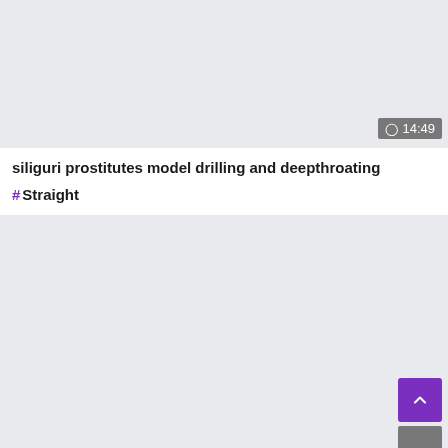[Figure (screenshot): Video thumbnail area — light gray background placeholder]
⊙ 14:49
siliguri prostitutes model drilling and deepthroating
# Straight